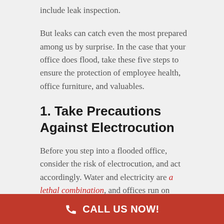include leak inspection.
But leaks can catch even the most prepared among us by surprise. In the case that your office does flood, take these five steps to ensure the protection of employee health, office furniture, and valuables.
1. Take Precautions Against Electrocution
Before you step into a flooded office, consider the risk of electrocution, and act accordingly. Water and electricity are a lethal combination, and offices run on electronics. Electronics like desktop computers, printers, and power cords stay
CALL US NOW!